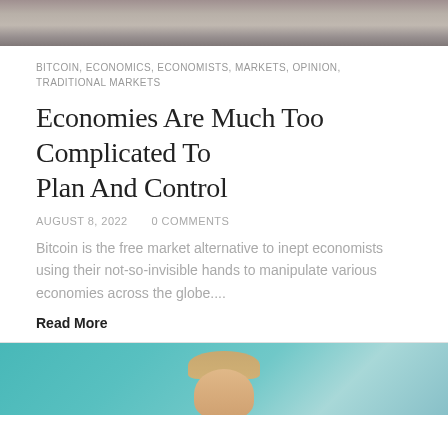[Figure (photo): Top portion of an article header image, appears to be a laboratory or scientific setting with blurred background]
BITCOIN, ECONOMICS, ECONOMISTS, MARKETS, OPINION, TRADITIONAL MARKETS
Economies Are Much Too Complicated To Plan And Control
AUGUST 8, 2022    0 COMMENTS
Bitcoin is the free market alternative to inept economists using their not-so-invisible hands to manipulate various economies across the globe....
Read More
[Figure (photo): Portrait photo of a person against a teal/turquoise background, showing head and upper shoulders]